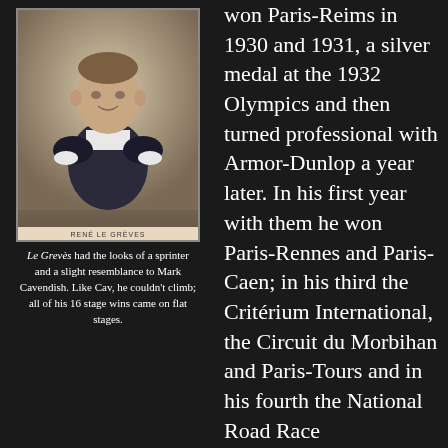[Figure (photo): Black and white photograph of René Le Grèves, a cyclist, shown from the waist up wearing a cycling jersey with dark sleeves and white body. He is smiling slightly. Caption below reads 'RENÉ LE GRÈVES'.]
Le Grèves had the looks of a sprinter and a slight resemblance to Mark Cavendish. Like Cav, he couldn't climb; all of his 16 stage wins came on flat stages.
won Paris-Reims in 1930 and 1931, a silver medal at the 1932 Olympics and then turned professional with Armor-Dunlop a year later. In his first year with them he won Paris-Rennes and Paris-Caen; in his third the Critérium International, the Circuit du Morbihan and Paris-Tours and in his fourth the National Road Race Championship. Switching to Mercier-Hutchinson in 1937, where he remained for the rest of his career, he won another Critérium International and numerous other races before his retirement in 1941.
Le Grevès never won a Grand Tour, but he entered the Tour